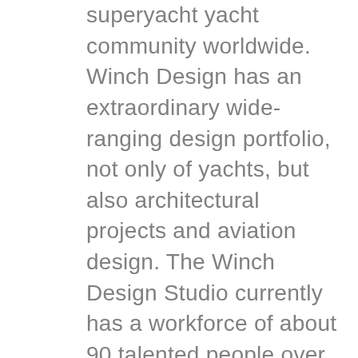superyacht yacht community worldwide. Winch Design has an extraordinary wide-ranging design portfolio, not only of yachts, but also architectural projects and aviation design. The Winch Design Studio currently has a workforce of about 90 talented people over a variety of disciplines and including more than 20 nationalities. Andrew Winch began his career working for the late Jon Bannenberg, the renowned 'father' of yacht design. Winch credits Bannenberg with tutelage and mentorship and fostering a passionate hands-on approach to each and every project. In 1986, Winch and his wife Jane created their own studio and their own brand. Winch Design has been involved in a broad range of yacht design from production Jeanneau sailboats to one of the world's largest yachts— the 156-meter Dilbar. Winch-designed yachts have won numerous industry design awards and accolades over the years.